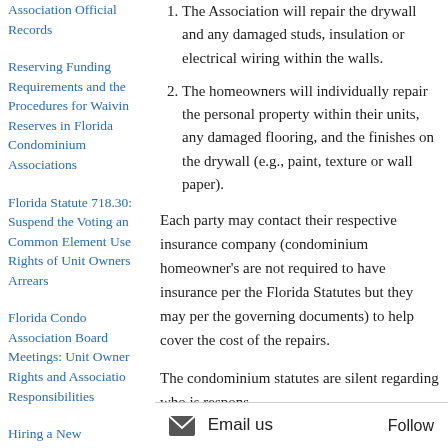Association Official Records
Reserving Funding Requirements and the Procedures for Waiving Reserves in Florida Condominium Associations
Florida Statute 718.303: Suspend the Voting and Common Element Use Rights of Unit Owners in Arrears
Florida Condo Association Board Meetings: Unit Owner Rights and Association Responsibilities
Hiring a New Management Company: The Florida Condominium Association M...
1. The Association will repair the drywall and any damaged studs, insulation or electrical wiring within the walls.
2. The homeowners will individually repair the personal property within their units, any damaged flooring, and the finishes on the drywall (e.g., paint, texture or wall paper).
Each party may contact their respective insurance company (condominium homeowner’s are not required to have insurance per the Florida Statutes but they may per the governing documents) to help cover the cost of the repairs.
The condominium statutes are silent regarding who is respons... of the...